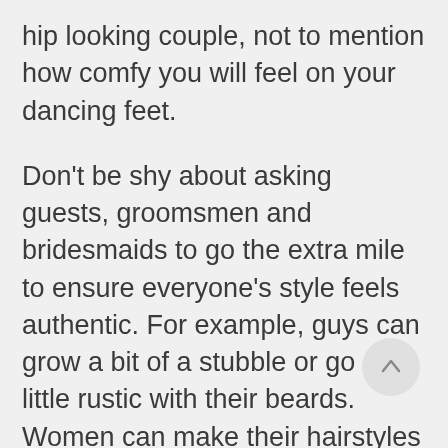hip looking couple, not to mention how comfy you will feel on your dancing feet.
Don't be shy about asking guests, groomsmen and bridesmaids to go the extra mile to ensure everyone's style feels authentic. For example, guys can grow a bit of a stubble or go a little rustic with their beards. Women can make their hairstyles into works of country art using styles like waterfall braids or milkmaid's braids. These looks are not only beautiful but also help make your country wedding feel much more